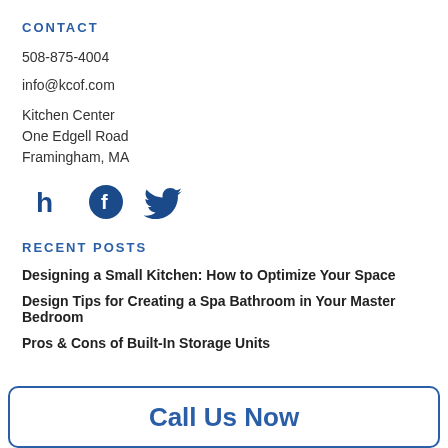CONTACT
508-875-4004
info@kcof.com
Kitchen Center
One Edgell Road
Framingham, MA
[Figure (illustration): Three social media icons in dark blue: Houzz (h), Facebook circle, Twitter bird]
RECENT POSTS
Designing a Small Kitchen: How to Optimize Your Space
Design Tips for Creating a Spa Bathroom in Your Master Bedroom
Pros & Cons of Built-In Storage Units
Call Us Now